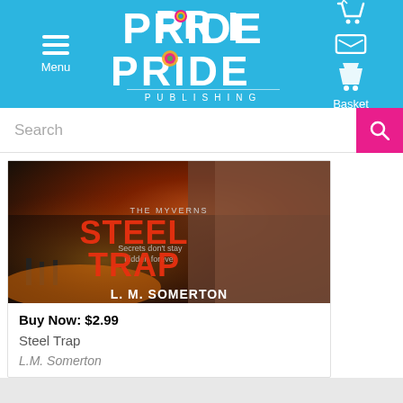Menu | PRIDE PUBLISHING | Basket
Search
[Figure (screenshot): Book cover for Steel Trap by L.M. Somerton, part of The Myverns series. Dark moody cover with a shirtless muscular figure and soldiers in background. Orange-red title text reads STEEL TRAP. Tagline: Secrets don't stay hidden forever.]
Buy Now: $2.99
Steel Trap
L.M. Somerton